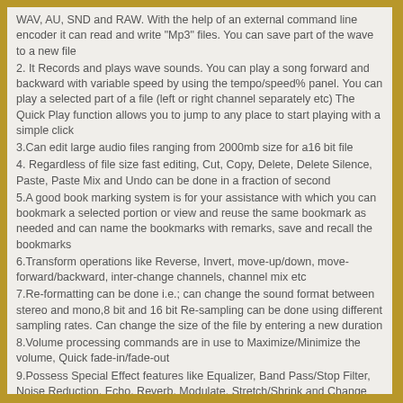WAV, AU, SND and RAW. With the help of an external command line encoder it can read and write "Mp3" files. You can save part of the wave to a new file
2. It Records and plays wave sounds. You can play a song forward and backward with variable speed by using the tempo/speed% panel. You can play a selected part of a file (left or right channel separately etc) The Quick Play function allows you to jump to any place to start playing with a simple click
3.Can edit large audio files ranging from 2000mb size for a16 bit file
4. Regardless of file size fast editing, Cut, Copy, Delete, Delete Silence, Paste, Paste Mix and Undo can be done in a fraction of second
5.A good book marking system is for your assistance with which you can bookmark a selected portion or view and reuse the same bookmark as needed and can name the bookmarks with remarks, save and recall the bookmarks
6.Transform operations like Reverse, Invert, move-up/down, move-forward/backward, inter-change channels, channel mix etc
7.Re-formatting can be done i.e.; can change the sound format between stereo and mono,8 bit and 16 bit Re-sampling can be done using different sampling rates. Can change the size of the file by entering a new duration
8.Volume processing commands are in use to Maximize/Minimize the volume, Quick fade-in/fade-out
9.Possess Special Effect features like Equalizer, Band Pass/Stop Filter, Noise Reduction, Echo, Reverb, Modulate, Stretch/Shrink and Change Speed
10.Can generate sine waves with one or two frequencies (changing from one to the other), or multi-frequency noise, silence etc
11.With the mouse, can draw the wave form of the desired song/music. This is used for repairing noises, removing clicking sounds and creating special sounds
12 Batch Processing. 13.Possess Unlimited Undo operations. 14. It supports file formats WAV, MP3 (along with external encoder), WMA (can export only), AU, RAW and SND